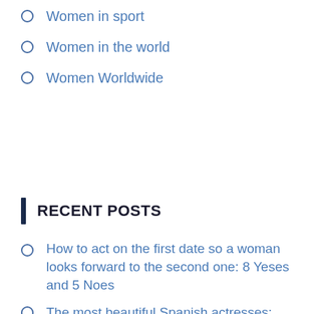Women in sport
Women in the world
Women Worldwide
RECENT POSTS
How to act on the first date so a woman looks forward to the second one: 8 Yeses and 5 Noes
The most beautiful Spanish actresses: TOP-10
The most beautiful actresses of all time: TOP-7
The most beautiful women with black hair: TOP-10
5 clear signs a woman is NOT suitable for the